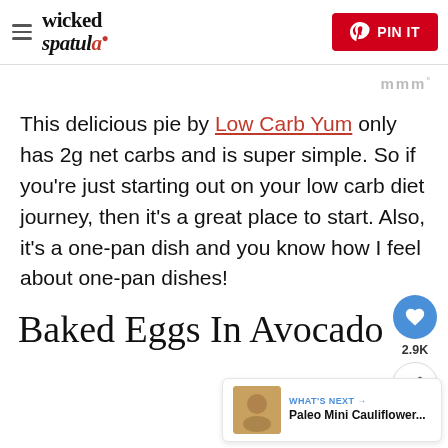wicked spatula | PIN IT
This delicious pie by Low Carb Yum only has 2g net carbs and is super simple. So if you're just starting out on your low carb diet journey, then it's a great place to start. Also, it's a one-pan dish and you know how I feel about one-pan dishes!
Baked Eggs In Avocado
WHAT'S NEXT → Paleo Mini Cauliflower...